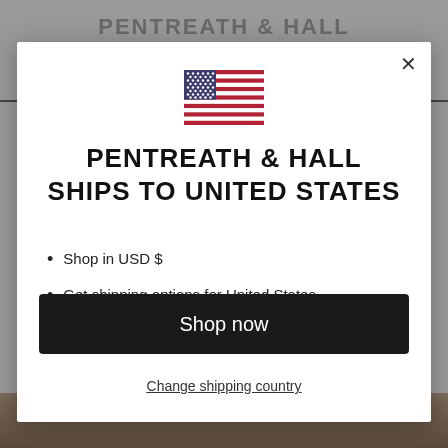[Figure (screenshot): Website modal popup for Pentreath & Hall showing US flag, shipping information, and shop now button over a blurred website background]
PENTREATH & HALL SHIPS TO UNITED STATES
Shop in USD $
Get shipping options for United States
Shop now
Change shipping country